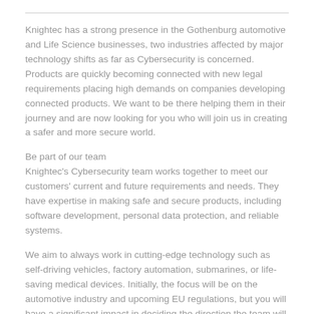Knightec has a strong presence in the Gothenburg automotive and Life Science businesses, two industries affected by major technology shifts as far as Cybersecurity is concerned. Products are quickly becoming connected with new legal requirements placing high demands on companies developing connected products. We want to be there helping them in their journey and are now looking for you who will join us in creating a safer and more secure world.
Be part of our team
Knightec's Cybersecurity team works together to meet our customers' current and future requirements and needs. They have expertise in making safe and secure products, including software development, personal data protection, and reliable systems.
We aim to always work in cutting-edge technology such as self-driving vehicles, factory automation, submarines, or life-saving medical devices. Initially, the focus will be on the automotive industry and upcoming EU regulations, but you will have a significant impact in deciding the direction the team will go.
Build a career that you can be proud of
Wherever you see yourself in the future, we are here to support you. Whether you want to take on a new role, become a specialist within a specific area, or develop your managerial skills - we will help you find the way forward. Your